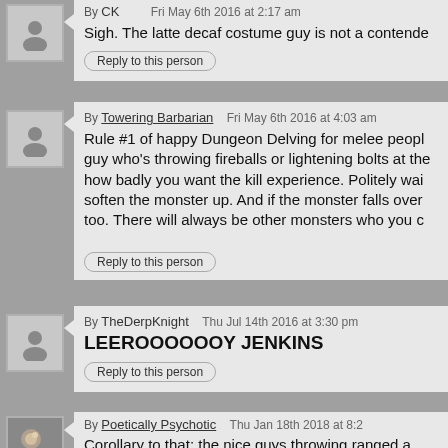By CK   Fri May 6th 2016 at 2:17 am
Sigh. The latte decaf costume guy is not a contende…
Reply to this person
By Towering Barbarian   Fri May 6th 2016 at 4:03 am
Rule #1 of happy Dungeon Delving for melee people... guy who's throwing fireballs or lightening bolts at the... how badly you want the kill experience. Politely wai... soften the monster up. And if the monster falls over... too. There will always be other monsters who you c…
Reply to this person
By TheDerpKnight   Thu Jul 14th 2016 at 3:30 pm
LEEROOOOOOY JENKINS
Reply to this person
By Poetically Psychotic   Thu Jan 18th 2018 at 8:2…
Corollary to that: the nice guys throwing ranged a… IT if you stayed between them and the monstr…